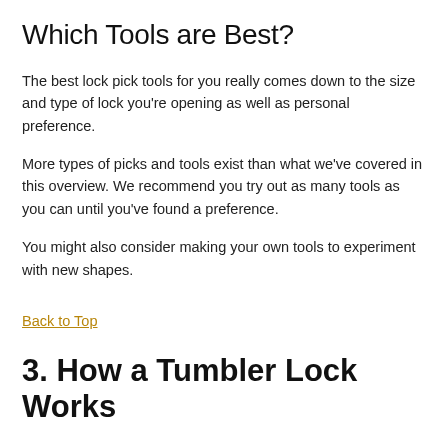Which Tools are Best?
The best lock pick tools for you really comes down to the size and type of lock you're opening as well as personal preference.
More types of picks and tools exist than what we've covered in this overview. We recommend you try out as many tools as you can until you've found a preference.
You might also consider making your own tools to experiment with new shapes.
Back to Top
3. How a Tumbler Lock Works